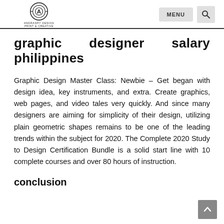ANDRASHY DESIGN | MENU | [search]
graphic designer salary philippines
Graphic Design Master Class: Newbie – Get began with design idea, key instruments, and extra. Create graphics, web pages, and video tales very quickly. And since many designers are aiming for simplicity of their design, utilizing plain geometric shapes remains to be one of the leading trends within the subject for 2020. The Complete 2020 Study to Design Certification Bundle is a solid start line with 10 complete courses and over 80 hours of instruction.
conclusion